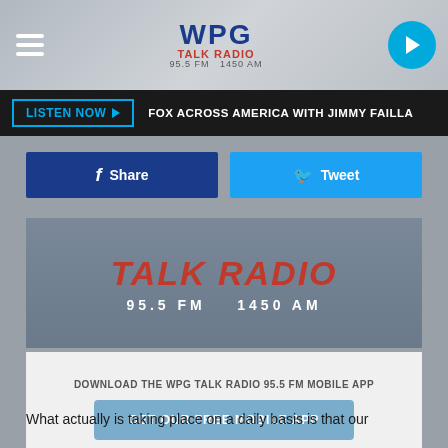[Figure (logo): WPG Talk Radio logo with hamburger menu and play button in top navigation bar]
LISTEN NOW ▶  FOX ACROSS AMERICA WITH JIMMY FAILLA
[Figure (other): Facebook Share button and Twitter Tweet button]
[Figure (logo): WPG Talk Radio banner - TALK RADIO 95.5 FM 1450 AM]
DOWNLOAD THE WPG TALK RADIO 95.5 FM MOBILE APP
GET OUR FREE MOBILE APP
What actually is taking place on a daily basis is that our